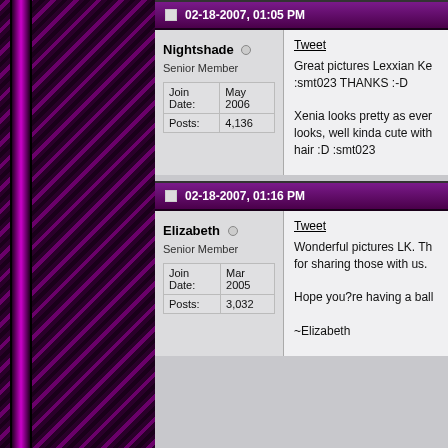02-18-2007, 01:05 PM
Nightshade
Senior Member
| Join Date: | May 2006 |
| Posts: | 4,136 |
Tweet
Great pictures Lexxian Ke :smt023 THANKS :-D

Xenia looks pretty as ever looks, well kinda cute with hair :D :smt023
02-18-2007, 01:16 PM
Elizabeth
Senior Member
| Join Date: | Mar 2005 |
| Posts: | 3,032 |
Tweet
Wonderful pictures LK. Th for sharing those with us.

Hope you?re having a ball

~Elizabeth